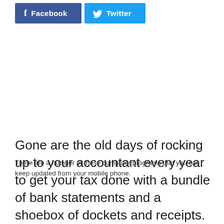[Figure (other): Social media share buttons: Facebook (dark blue) and Twitter (light blue) side by side]
There are a number of these computer programs that you can keep updated from your mobile phone.
Gone are the old days of rocking up to your accountant every year to get your tax done with a bundle of bank statements and a shoebox of dockets and receipts.